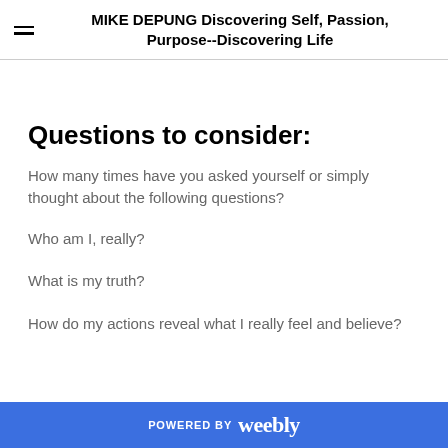MIKE DEPUNG Discovering Self, Passion, Purpose--Discovering Life
Questions to consider:
How many times have you asked yourself or simply thought about the following questions?
Who am I, really?
What is my truth?
How do my actions reveal what I really feel and believe?
POWERED BY weebly